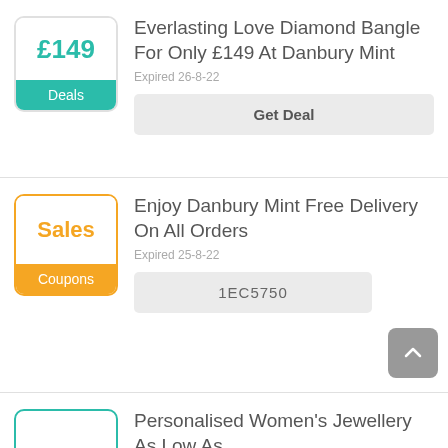[Figure (infographic): Deal badge with £149 price in teal and Deals label on teal background]
Everlasting Love Diamond Bangle For Only £149 At Danbury Mint
Expired 26-8-22
Get Deal
[Figure (infographic): Deal badge with Sales label in orange and Coupons label on orange background]
Enjoy Danbury Mint Free Delivery On All Orders
Expired 25-8-22
1EC5750
Personalised Women's Jewellery As Low As